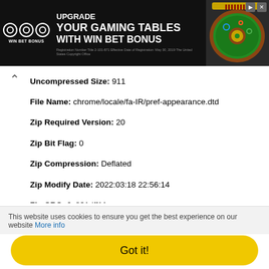[Figure (other): Advertisement banner for Win Bet Bonus - casino gaming tables promotion with roulette image]
Uncompressed Size: 911
File Name: chrome/locale/fa-IR/pref-appearance.dtd
Zip Required Version: 20
Zip Bit Flag: 0
Zip Compression: Deflated
Zip Modify Date: 2022:03:18 22:56:14
Zip CRC: 0x831dff11
Zip Compressed Size: 138
Zip Uncompressed Size: 224
Zip File Name: chrome/locale/fa-IR/pref-filetype.dtd
Zip Required Version: 20
Zip Bit Flag: 0
Zip Compression: Deflated
Zip Modify Date: 2022:03:18 22:56:14
Zip CRC: 0xa904b257
Zip Compressed Size: 6136
Zip Uncompressed Size: 22017
Zip File Name: chrome/locale/fa-IR/pref-tabmix.dtd
Zip Required Version: 20
This website uses cookies to ensure you get the best experience on our website More info
Got it!